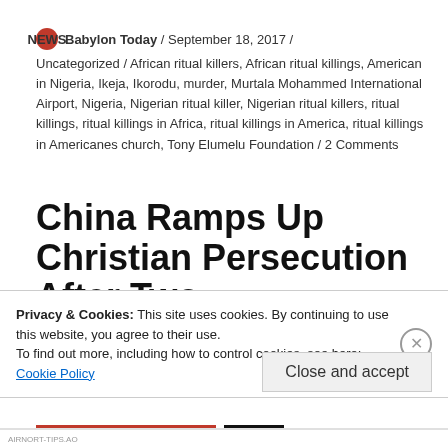Babylon Today / September 18, 2017 / Uncategorized / African ritual killers, African ritual killings, American in Nigeria, Ikeja, Ikorodu, murder, Murtala Mohammed International Airport, Nigeria, Nigerian ritual killer, Nigerian ritual killers, ritual killings, ritual killings in Africa, ritual killings in America, ritual killings in Americanes church, Tony Elumelu Foundation / 2 Comments
China Ramps Up Christian Persecution After Two
Privacy & Cookies: This site uses cookies. By continuing to use this website, you agree to their use.
To find out more, including how to control cookies, see here: Cookie Policy
Close and accept